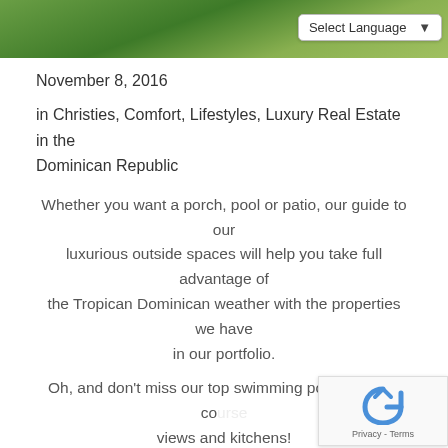[Figure (photo): Green foliage/garden header image with a 'Select Language' dropdown on the right]
November 8, 2016
in Christies, Comfort, Lifestyles, Luxury Real Estate in the Dominican Republic
Whether you want a porch, pool or patio, our guide to our luxurious outside spaces will help you take full advantage of the Tropican Dominican weather with the properties we have in our portfolio.
Oh, and don't miss our top swimming pool, and golf co... views and kitchens!
Waterfront Villa Marina 2 at Isla Grande – Punta Cana
[Figure (photo): Bottom portion showing building roof against blue sky]